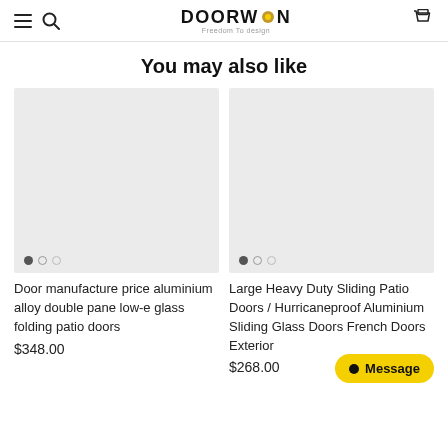DOORWIN — Freedom To design
You may also like
[Figure (photo): Product image placeholder (grey rectangle) for Door manufacture price aluminium alloy double pane low-e glass folding patio doors. Three carousel dots below (first filled, two empty).]
Door manufacture price aluminium alloy double pane low-e glass folding patio doors
$348.00
[Figure (photo): Product image placeholder (grey rectangle) for Large Heavy Duty Sliding Patio Doors / Hurricaneproof Aluminium Sliding Glass Doors French Doors Exterior. Three carousel dots below (first filled, two empty).]
Large Heavy Duty Sliding Patio Doors / Hurricaneproof Aluminium Sliding Glass Doors French Doors Exterior
$268.00